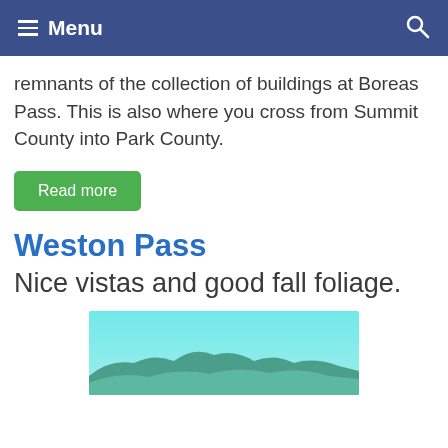Menu
remnants of the collection of buildings at Boreas Pass. This is also where you cross from Summit County into Park County.
Read more
Weston Pass
Nice vistas and good fall foliage.
[Figure (photo): Mountain landscape with teal/turquoise sky and rolling mountain ridgeline at the bottom]